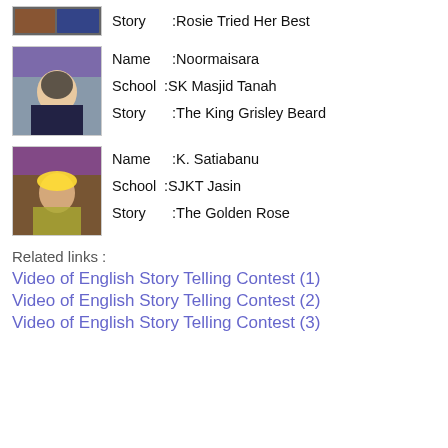Story :Rosie Tried Her Best
[Figure (photo): Thumbnail of a student contestant at a story telling contest]
Name :Noormaisara
School :SK Masjid Tanah
Story :The King Grisley Beard
[Figure (photo): Thumbnail of a student contestant at a story telling contest]
Name :K. Satiabanu
School :SJKT Jasin
Story :The Golden Rose
Related links :
Video of English Story Telling Contest (1)
Video of English Story Telling Contest (2)
Video of English Story Telling Contest (3)